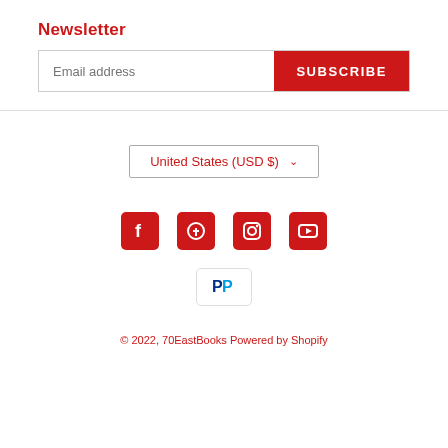Newsletter
Email address
SUBSCRIBE
United States (USD $)
[Figure (infographic): Social media icons: Facebook, Pinterest, Instagram, YouTube — all in red]
[Figure (logo): PayPal payment badge]
© 2022, 70EastBooks Powered by Shopify